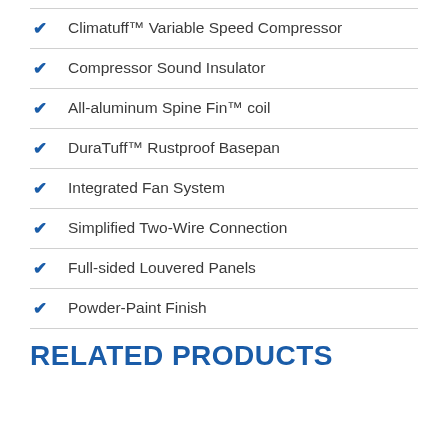Climatuff™ Variable Speed Compressor
Compressor Sound Insulator
All-aluminum Spine Fin™ coil
DuraTuff™ Rustproof Basepan
Integrated Fan System
Simplified Two-Wire Connection
Full-sided Louvered Panels
Powder-Paint Finish
RELATED PRODUCTS